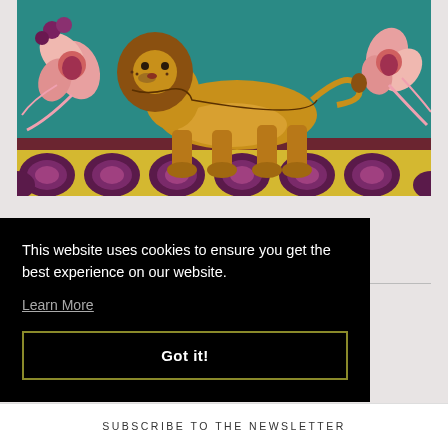[Figure (illustration): Colorful painting of a golden lion walking on a yellow and purple decorative border, with pink lotus flowers on a teal/turquoise background. Folk art or decorative art style.]
RELATED PRODUCTS
This website uses cookies to ensure you get the best experience on our website.
Learn More
Got it!
SUBSCRIBE TO THE NEWSLETTER